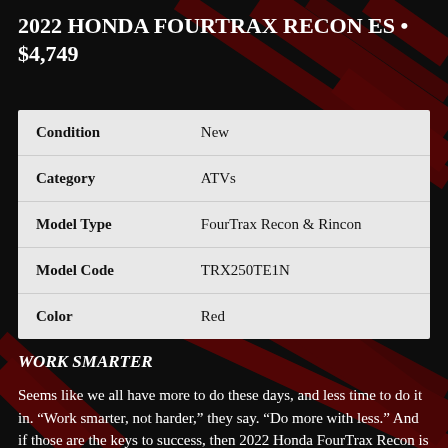2022 HONDA FOURTRAX RECON ES • $4,749
|  |  |
| --- | --- |
| Condition | New |
| Category | ATVs |
| Model Type | FourTrax Recon & Rincon |
| Model Code | TRX250TE1N |
| Color | Red |
WORK SMARTER
Seems like we all have more to do these days, and less time to do it in. “Work smarter, not harder,” they say. “Do more with less.” And if those are the keys to success, then 2022 Honda FourTrax Recon is a five-star champion. This rugged, mid-sized ATV can tackle job...